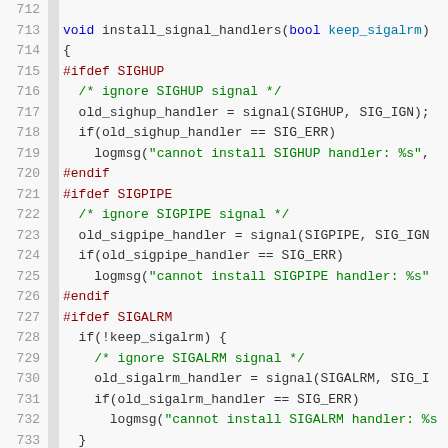[Figure (screenshot): Source code listing showing C function install_signal_handlers with signal handling for SIGHUP, SIGPIPE, and SIGALRM signals, lines 712-733, syntax highlighted with line numbers]